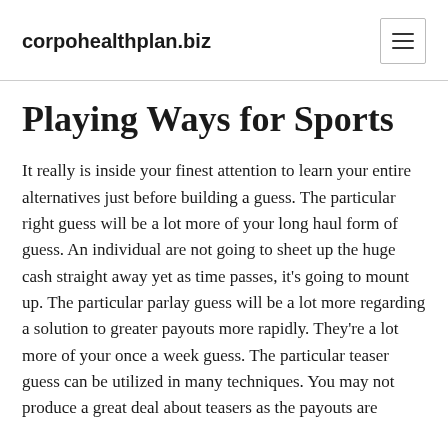corpohealthplan.biz
Playing Ways for Sports
It really is inside your finest attention to learn your entire alternatives just before building a guess. The particular right guess will be a lot more of your long haul form of guess. An individual are not going to sheet up the huge cash straight away yet as time passes, it's going to mount up. The particular parlay guess will be a lot more regarding a solution to greater payouts more rapidly. They're a lot more of your once a week guess. The particular teaser guess can be utilized in many techniques. You may not produce a great deal about teasers as the payouts are